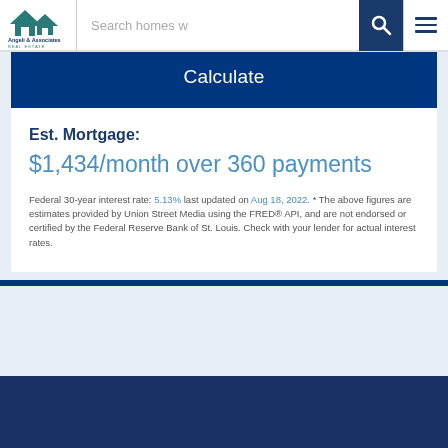Angeli & Associates Real Estate — Search homes — navigation
Calculate
Est. Mortgage:
$1,434/month over 360 payments
Federal 30-year interest rate: 5.13% last updated on Aug 18, 2022. * The above figures are estimates provided by Union Street Media using the FRED® API, and are not endorsed or certified by the Federal Reserve Bank of St. Louis. Check with your lender for actual interest rates.